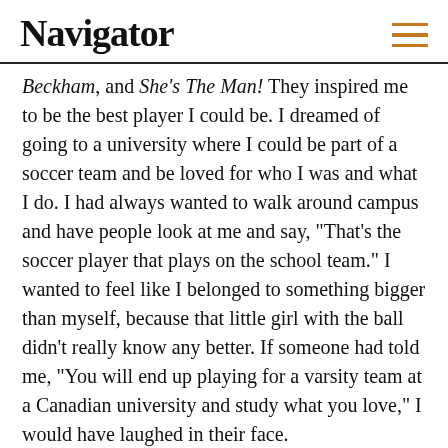Navigator
Beckham, and She's The Man! They inspired me to be the best player I could be. I dreamed of going to a university where I could be part of a soccer team and be loved for who I was and what I do. I had always wanted to walk around campus and have people look at me and say, “That's the soccer player that plays on the school team.” I wanted to feel like I belonged to something bigger than myself, because that little girl with the ball didn’t really know any better. If someone had told me, “You will end up playing for a varsity team at a Canadian university and study what you love,” I would have laughed in their face.